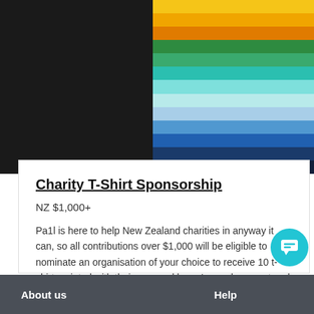[Figure (photo): Stack of folded t-shirts in rainbow colors (yellow, orange, green, teal, light blue, blue, navy) against a dark background]
Charity T-Shirt Sponsorship
NZ $1,000+
Pa1l is here to help New Zealand charities in anyway it can, so all contributions over $1,000 will be eligible to nominate an organisation of your choice to receive 10 t-shirts printed with their personal logo. Logo placement and t-shirt color can be changed to suit the organisation.
15 left
About us    Help